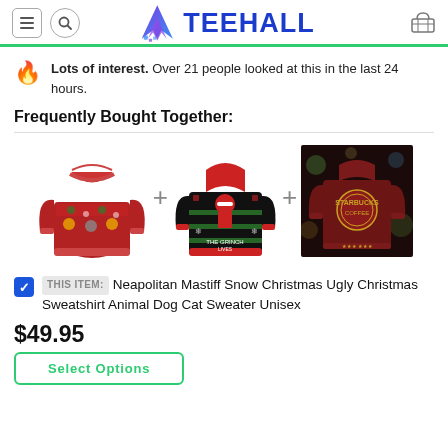TEEHALL
Lots of interest. Over 21 people looked at this in the last 24 hours.
Frequently Bought Together:
[Figure (photo): Three Christmas ugly sweaters displayed side by side with plus signs between them: a red cat/dog Christmas sweater, a dark green/black Santa character sweater, and a dark maroon Starbucks-style Christmas sweater.]
THIS ITEM: Neapolitan Mastiff Snow Christmas Ugly Christmas Sweatshirt Animal Dog Cat Sweater Unisex
$49.95
Select Options